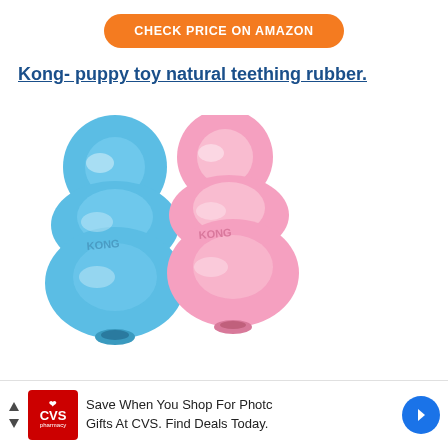CHECK PRICE ON AMAZON
Kong- puppy toy natural teething rubber.
[Figure (photo): Two KONG puppy chew toys side by side — one blue (left) and one pink (right) — both shaped with three stacked rounded segments and a hollow bottom opening, with KONG embossed on the sides.]
Save When You Shop For Photo Gifts At CVS. Find Deals Today.